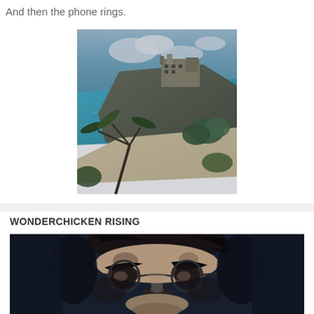And then the phone rings.
[Figure (photo): Aerial/elevated view of a coastal cliff with a building on top, turquoise ocean water, white sandy beach, and palm trees in the foreground]
WONDERCHICKEN RISING
[Figure (photo): High-contrast black and white stylized portrait of a person wearing round glasses, showing face from forehead to chin, dark background]